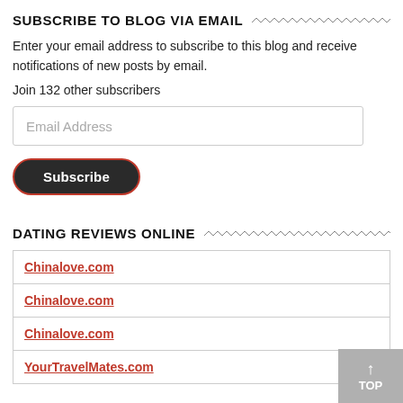SUBSCRIBE TO BLOG VIA EMAIL
Enter your email address to subscribe to this blog and receive notifications of new posts by email.
Join 132 other subscribers
Email Address
Subscribe
DATING REVIEWS ONLINE
| Chinalove.com |
| Chinalove.com |
| Chinalove.com |
| YourTravelMates.com |